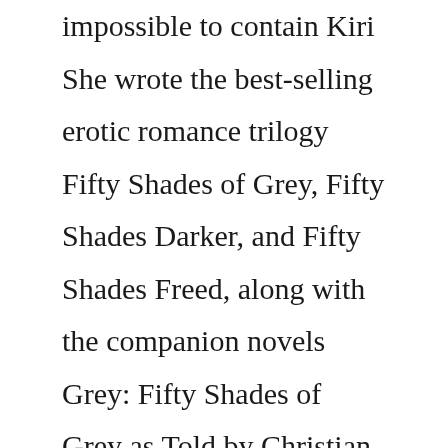impossible to contain Kiri She wrote the best-selling erotic romance trilogy Fifty Shades of Grey, Fifty Shades Darker, and Fifty Shades Freed, along with the companion novels Grey: Fifty Shades of Grey as Told by Christian, Darker: Fifty Shades Darker as Told by Christian, and Freed: Fifty Shades Freed as Told by … Erica (에리카, Erika?) is a Twilights and a "hunter" that works for the Corsica Family Lux filters like Twilight will cause a